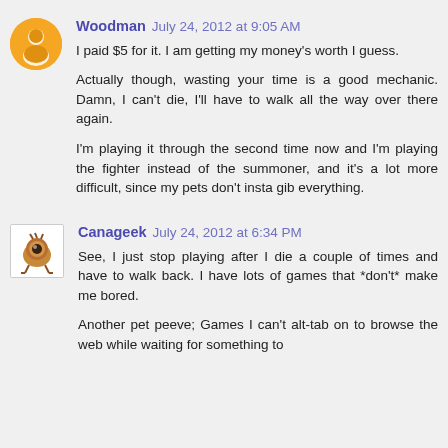Woodman July 24, 2012 at 9:05 AM
I paid $5 for it. I am getting my money's worth I guess.

Actually though, wasting your time is a good mechanic. Damn, I can't die, I'll have to walk all the way over there again.

I'm playing it through the second time now and I'm playing the fighter instead of the summoner, and it's a lot more difficult, since my pets don't insta gib everything.
Canageek July 24, 2012 at 6:34 PM
See, I just stop playing after I die a couple of times and have to walk back. I have lots of games that *don't* make me bored.

Another pet peeve; Games I can't alt-tab on to browse the web while waiting for something to